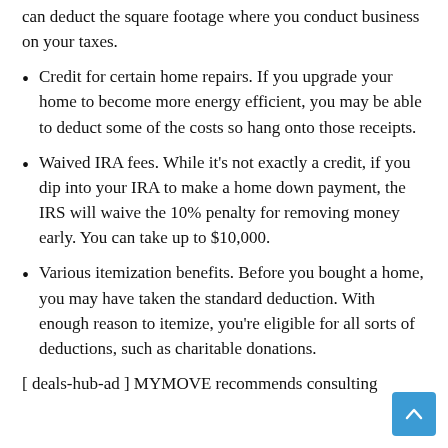can deduct the square footage where you conduct business on your taxes.
Credit for certain home repairs. If you upgrade your home to become more energy efficient, you may be able to deduct some of the costs so hang onto those receipts.
Waived IRA fees. While it's not exactly a credit, if you dip into your IRA to make a home down payment, the IRS will waive the 10% penalty for removing money early. You can take up to $10,000.
Various itemization benefits. Before you bought a home, you may have taken the standard deduction. With enough reason to itemize, you're eligible for all sorts of deductions, such as charitable donations.
[ deals-hub-ad ] MYMOVE recommends consulting